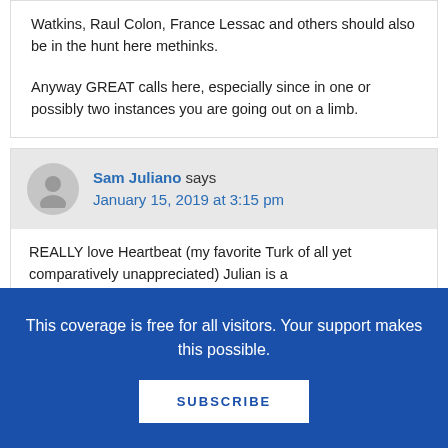Watkins, Raul Colon, France Lessac and others should also be in the hunt here methinks.
Anyway GREAT calls here, especially since in one or possibly two instances you are going out on a limb.
Sam Juliano says
January 15, 2019 at 3:15 pm
REALLY love Heartbeat (my favorite Turk of all yet comparatively unappreciated) Julian is a
This coverage is free for all visitors. Your support makes this possible.
SUBSCRIBE